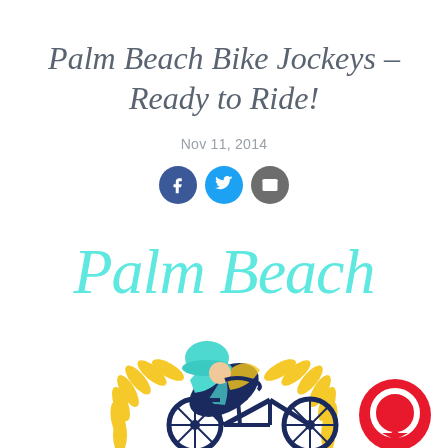Palm Beach Bike Jockeys - Ready to Ride!
Nov 11, 2014
[Figure (illustration): Social share icons: Facebook (blue circle with f), Twitter (blue circle with bird), Email (grey circle with envelope)]
[Figure (illustration): Palm Beach Bike Jockeys logo: cursive 'Palm Beach' text in aqua/teal color above an illustration of a cyclist in harlequin jersey with teal helmet on a dark navy bicycle, surrounded by a golden wheat/laurel wreath. Red chat bubble icon in bottom right corner.]